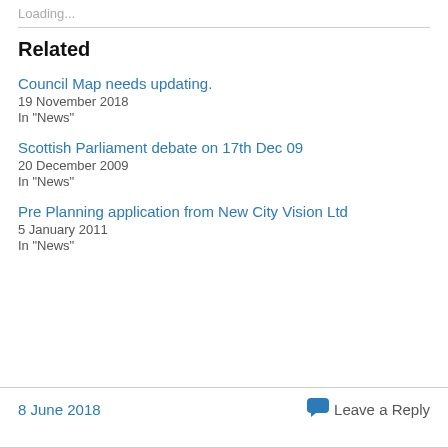Loading...
Related
Council Map needs updating.
19 November 2018
In "News"
Scottish Parliament debate on 17th Dec 09
20 December 2009
In "News"
Pre Planning application from New City Vision Ltd
5 January 2011
In "News"
8 June 2018
Leave a Reply